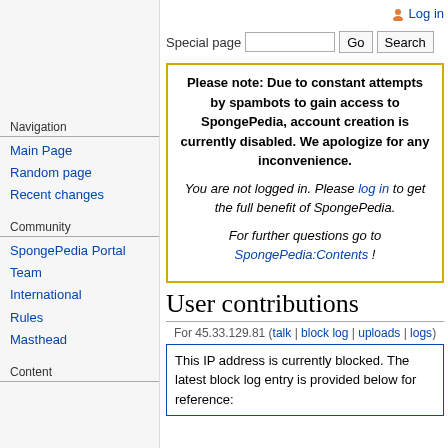Log in
Special page
Please note: Due to constant attempts by spambots to gain access to SpongePedia, account creation is currently disabled. We apologize for any inconvenience.

You are not logged in. Please log in to get the full benefit of SpongePedia.

For further questions go to SpongePedia:Contents !
User contributions
For 45.33.129.81 (talk | block log | uploads | logs)
This IP address is currently blocked. The latest block log entry is provided below for reference:
Navigation
Main Page
Random page
Recent changes
Community
SpongePedia Portal
Team
International
Rules
Masthead
Content